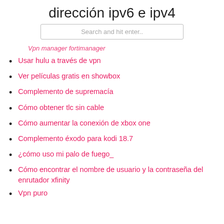dirección ipv6 e ipv4
Search and hit enter..
Vpn manager fortimanager
Usar hulu a través de vpn
Ver películas gratis en showbox
Complemento de supremacía
Cómo obtener tlc sin cable
Cómo aumentar la conexión de xbox one
Complemento éxodo para kodi 18.7
¿cómo uso mi palo de fuego_
Cómo encontrar el nombre de usuario y la contraseña del enrutador xfinity
Vpn puro